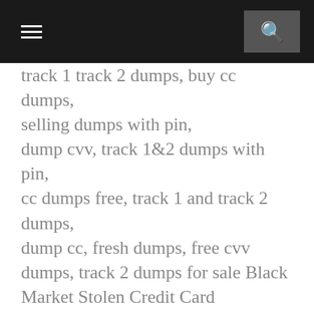track 1 track 2 dumps, buy cc dumps, selling dumps with pin, dump cvv, track 1&2 dumps with pin, cc dumps free, track 1 and track 2 dumps, dump cc, fresh dumps, free cvv dumps, track 2 dumps for sale Black Market Stolen Credit Card Information cvv fullz dumps, buy cvv dumps verified seller, buy dumps online, buy fresh Dumps, credit card cvv information for sale, cvv fullz